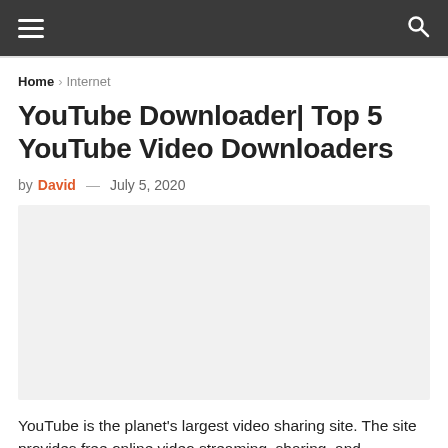≡  🔍
Home › Internet
YouTube Downloader| Top 5 YouTube Video Downloaders
by David — July 5, 2020
[Figure (other): Advertisement placeholder image, light grey background]
YouTube is the planet's largest video sharing site. The site provides free online video streaming, sharing, and